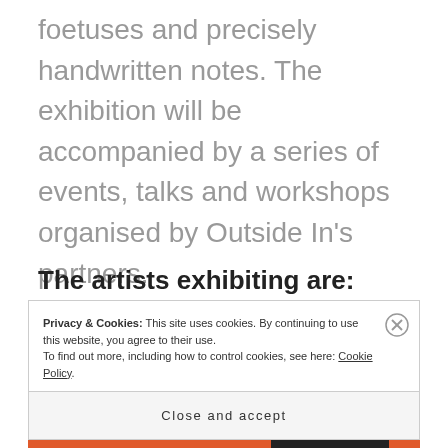foetuses and precisely handwritten notes. The exhibition will be accompanied by a series of events, talks and workshops organised by Outside In's partners.
The artists exhibiting are:
Privacy & Cookies: This site uses cookies. By continuing to use this website, you agree to their use.
To find out more, including how to control cookies, see here: Cookie Policy
Close and accept